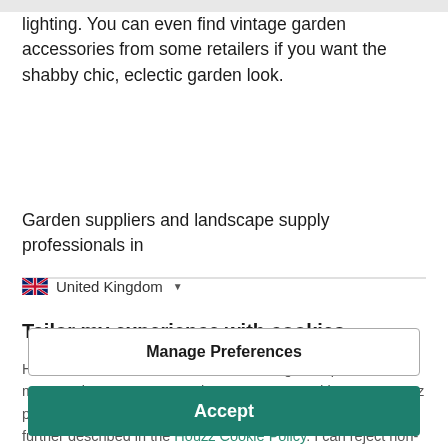lighting. You can even find vintage garden accessories from some retailers if you want the shabby chic, eclectic garden look.
Garden suppliers and landscape supply professionals in
United Kingdom
Tailor my experience with cookies
Houzz uses cookies and similar technologies to personalise my experience, serve me relevant content, and improve Houzz products and services. By clicking 'Accept' I agree to this, as further described in the Houzz Cookie Policy. I can reject non-
Manage Preferences
Accept